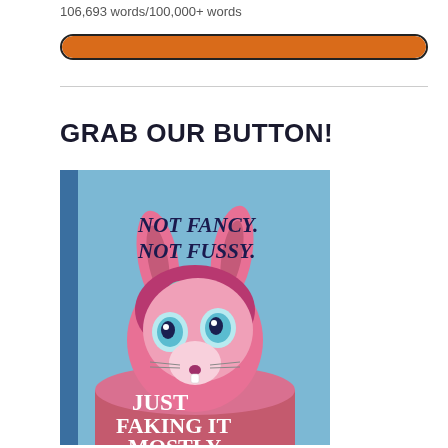106,693 words/100,000+ words
[Figure (infographic): Orange progress bar nearly full, inside a black-bordered rounded rectangle, showing word count progress toward 100,000+ words goal]
GRAB OUR BUTTON!
[Figure (photo): Photo of a pink Littlest Pet Shop toy bunny/cat figure with big teal eyes and a pink mane, sitting in a bowl-like base. Text overlaid on image reads: NOT FANCY. NOT FUSSY. JUST FAKING IT MOSTLY.]